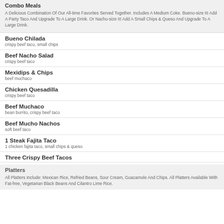Combo Meals
A Delicious Combination Of Our All-time Favorites Served Together. Includes A Medium Coke. Bueno-size It! Add A Party Taco And Upgrade To A Large Drink. Or Nacho-size It! Add A Small Chips & Queso And Upgrade To A Large Drink.
Bueno Chilada
crispy beef taco, small chips
Beef Nacho Salad
crispy beef taco
Mexidips & Chips
beef muchaco
Chicken Quesadilla
crispy beef taco
Beef Muchaco
bean burrito, crispy beef taco
Beef Mucho Nachos
soft beef taco
1 Steak Fajita Taco
1 chicken fajita taco, small chips & queso
Three Crispy Beef Tacos
Platters
All Platters Include: Mexican Rice, Refried Beans, Sour Cream, Guacamole And Chips. All Platters Available With Fat-free, Vegetarian Black Beans And Cilantro Lime Rice.